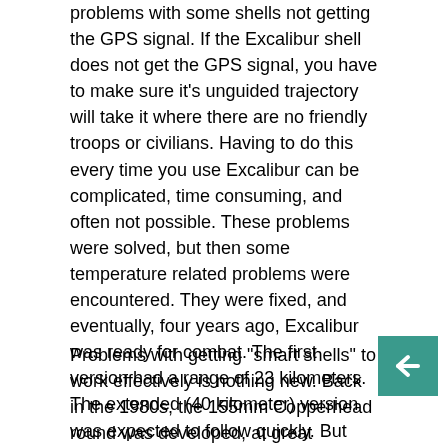problems with some shells not getting the GPS signal. If the Excalibur shell does not get the GPS signal, you have to make sure it's unguided trajectory will take it where there are no friendly troops or civilians. Having to do this every time you use Excalibur can be complicated, time consuming, and often not possible. These problems were solved, but then some temperature related problems were encountered. They were fixed, and eventually, four years ago, Excalibur was ready for combat. The first version had a range of 23 kilometers. The extended (40 kilometer) version was expected to follow quickly. But there were more problems with that than anticipated.
Problems with getting "smart shells" to work effectively is nothing new. Back in the 1980s, the 155mm Copperhead round was developed, at great expense, to take out tanks with one shot. The Copperhead was laser guided. That is, it homed in